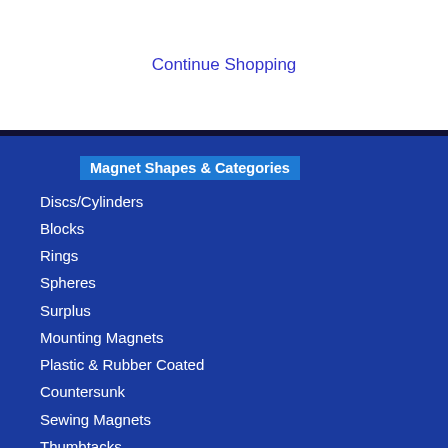Continue Shopping
Magnet Shapes & Categories
Discs/Cylinders
Blocks
Rings
Spheres
Surplus
Mounting Magnets
Plastic & Rubber Coated
Countersunk
Sewing Magnets
Thumbtacks
Grade N52
Sample Packs
High Temp
Magswitch